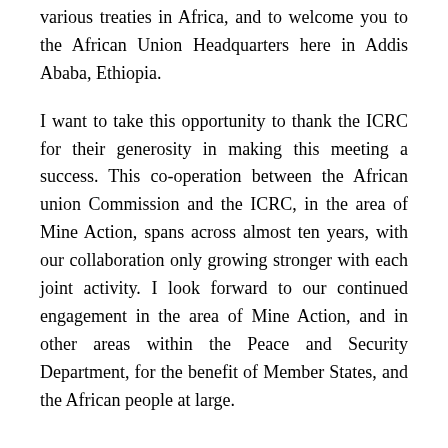various treaties in Africa, and to welcome you to the African Union Headquarters here in Addis Ababa, Ethiopia.
I want to take this opportunity to thank the ICRC for their generosity in making this meeting a success. This co-operation between the African union Commission and the ICRC, in the area of Mine Action, spans across almost ten years, with our collaboration only growing stronger with each joint activity. I look forward to our continued engagement in the area of Mine Action, and in other areas within the Peace and Security Department, for the benefit of Member States, and the African people at large.